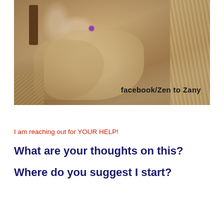[Figure (photo): Sepia-toned vintage photograph of a woman seated, wearing a feathered or fur-trimmed costume with a purple decorative element on the chest. She appears to be posing with hands near her chest. Text overlay reads 'facebook/Zen to Zany'.]
I am reaching out for YOUR HELP!
What are your thoughts on this?
Where do you suggest I start?